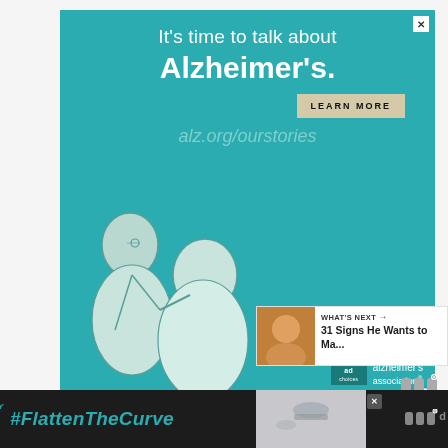[Figure (illustration): Alzheimer's Association advertisement on teal background. Text reads: It's time to talk about Alzheimer's. LEARN MORE button. alz.org/ourstories URL. Illustration of two elderly people, one helping the other. Alzheimer's Association logo at bottom right.]
[Figure (other): Heart/like button icon (circular white button with heart)]
[Figure (other): Share button icon (circular white button with share symbol)]
WHAT'S NEXT → 31 Signs He Wants to Ma...
[Figure (other): Widespace ad logo (three speech-bubble-like dots with superscript circle)]
#FlattenTheCurve